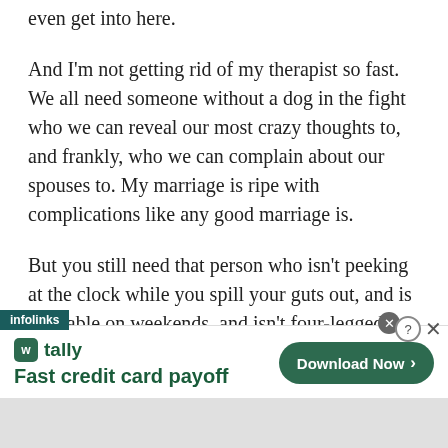even get into here.
And I'm not getting rid of my therapist so fast. We all need someone without a dog in the fight who we can reveal our most crazy thoughts to, and frankly, who we can complain about our spouses to. My marriage is ripe with complications like any good marriage is.
But you still need that person who isn't peeking at the clock while you spill your guts out, and is available on weekends, and isn't four-legged. You
[Figure (screenshot): Tally app advertisement banner: 'Fast credit card payoff' with Download Now button and infolinks label]